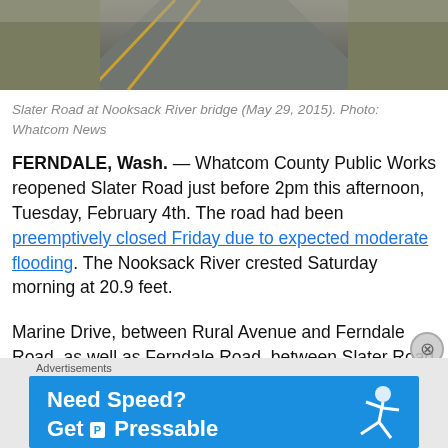[Figure (photo): Aerial/ground-level view of Slater Road at Nooksack River bridge, showing a paved road with double yellow center lines and dry vegetation on the sides, May 29, 2015]
Slater Road at Nooksack River bridge (May 29, 2015). Photo: Whatcom News
FERNDALE, Wash. — Whatcom County Public Works reopened Slater Road just before 2pm this afternoon, Tuesday, February 4th. The road had been preemptively closed Friday due to expected moderate flooding. The Nooksack River crested Saturday morning at 20.9 feet.
Marine Drive, between Rural Avenue and Ferndale Road, as well as Ferndale Road, between Slater Road and Marine Drive, were also recently
Advertisements
[Figure (screenshot): Advertisement banner: 'Need Speed? Get Pressable' on blue background with person running graphic]